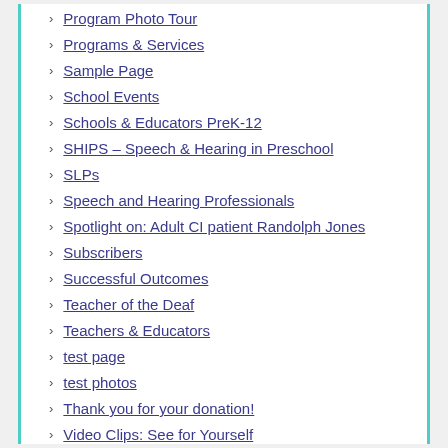Program Photo Tour
Programs & Services
Sample Page
School Events
Schools & Educators PreK-12
SHIPS – Speech & Hearing in Preschool
SLPs
Speech and Hearing Professionals
Spotlight on: Adult CI patient Randolph Jones
Subscribers
Successful Outcomes
Teacher of the Deaf
Teachers & Educators
test page
test photos
Thank you for your donation!
Video Clips: See for Yourself